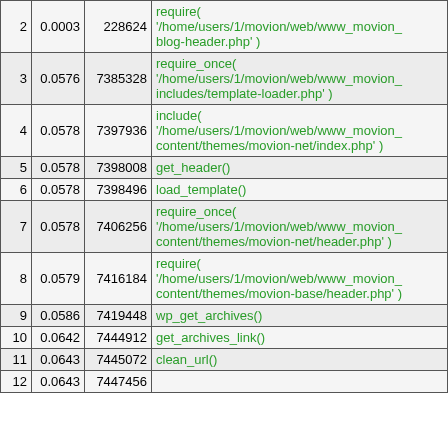| # | Time | Memory | Function |
| --- | --- | --- | --- |
| 2 | 0.0003 | 228624 | require(
'/home/users/1/movion/web/www_movion_blog-header.php' ) |
| 3 | 0.0576 | 7385328 | require_once(
'/home/users/1/movion/web/www_movion_includes/template-loader.php' ) |
| 4 | 0.0578 | 7397936 | include(
'/home/users/1/movion/web/www_movion_content/themes/movion-net/index.php' ) |
| 5 | 0.0578 | 7398008 | get_header() |
| 6 | 0.0578 | 7398496 | load_template() |
| 7 | 0.0578 | 7406256 | require_once(
'/home/users/1/movion/web/www_movion_content/themes/movion-net/header.php' ) |
| 8 | 0.0579 | 7416184 | require(
'/home/users/1/movion/web/www_movion_content/themes/movion-base/header.php' ) |
| 9 | 0.0586 | 7419448 | wp_get_archives() |
| 10 | 0.0642 | 7444912 | get_archives_link() |
| 11 | 0.0643 | 7445072 | clean_url() |
| 12 | 0.0643 | 7447456 | ... |